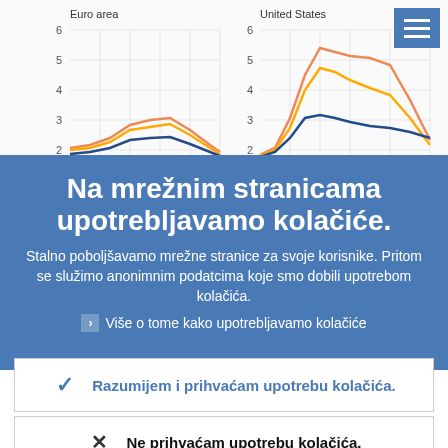[Figure (line-chart): Two line charts side by side. Left: 'Euro area' with y-axis 2-6, showing three colored lines (orange, amber, blue) peaking around 3. Right: 'United States' with y-axis 2-6, showing three lines with orange peaking near 5.5, amber near 4.5, blue near 3.]
Na mrežnim stranicama upotrebljavamo kolačiće.
Stalno poboljšavamo mrežne stranice za svoje korisnike. Pritom se služimo anonimnim podatcima koje smo dobili upotrebom kolačića.
Više o tome kako upotrebljavamo kolačiće
Razumijem i prihvaćam upotrebu kolačića.
Ne prihvaćam upotrebu kolačića.